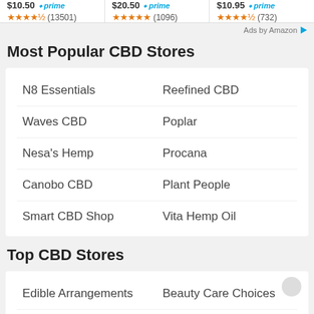[Figure (other): Amazon product listings with prices and star ratings: $10.50 prime (13501 reviews), $20.50 prime (1096 reviews), $10.95 prime (732 reviews)]
Ads by Amazon
Most Popular CBD Stores
N8 Essentials
Reefined CBD
Waves CBD
Poplar
Nesa's Hemp
Procana
Canobo CBD
Plant People
Smart CBD Shop
Vita Hemp Oil
Top CBD Stores
Edible Arrangements
Beauty Care Choices
Naturopathica
Diamond CBD